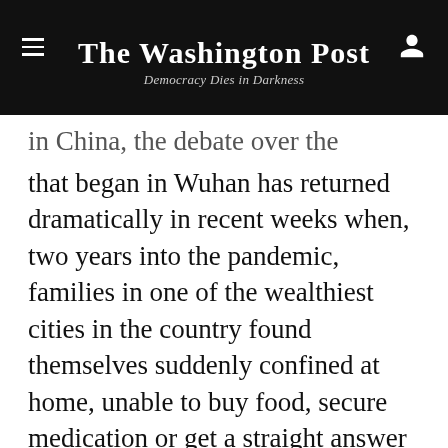The Washington Post — Democracy Dies in Darkness
in China, the debate over the psychological burdens that began in Wuhan has returned dramatically in recent weeks when, two years into the pandemic, families in one of the wealthiest cities in the country found themselves suddenly confined at home, unable to buy food, secure medication or get a straight answer about how long the policy would last.